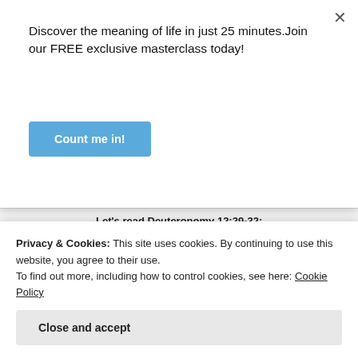Discover the meaning of life in just 25 minutes.Join our FREE exclusive masterclass today!
Count me in!
Let's read Deuteronomy 12:29-32:
Advertisements
[Figure (screenshot): Jetpack advertisement banner with green background showing Jetpack logo and tagline 'The best real-time']
Privacy & Cookies: This site uses cookies. By continuing to use this website, you agree to their use.
To find out more, including how to control cookies, see here: Cookie Policy
Close and accept